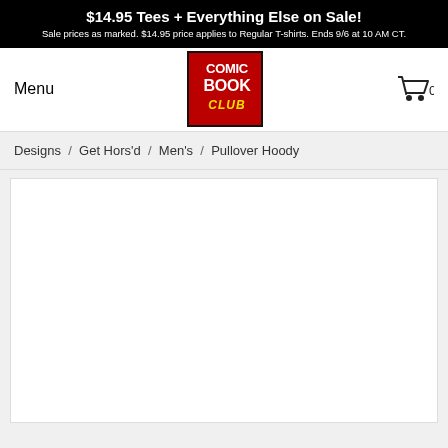$14.95 Tees + Everything Else on Sale! Sale prices as marked. $14.95 price applies to Regular T-shirts. Ends 9/6 at 10 AM CT.
Menu
[Figure (logo): Comic Book Club logo: red background with white bold text reading COMIC BOOK CLUB in yellow italic]
[Figure (illustration): Shopping cart icon with number 0]
Designs / Get Hors'd / Men's / Pullover Hoody
[Figure (photo): White empty product image area]